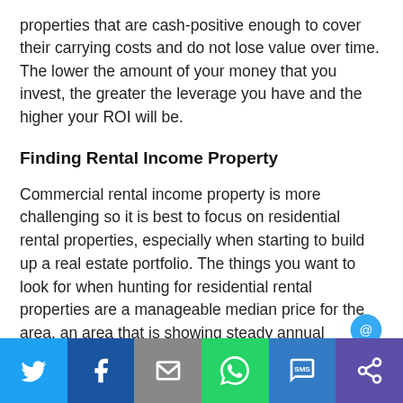properties that are cash-positive enough to cover their carrying costs and do not lose value over time. The lower the amount of your money that you invest, the greater the leverage you have and the higher your ROI will be.
Finding Rental Income Property
Commercial rental income property is more challenging so it is best to focus on residential rental properties, especially when starting to build up a real estate portfolio. The things you want to look for when hunting for residential rental properties are a manageable median price for the area, an area that is showing steady annual